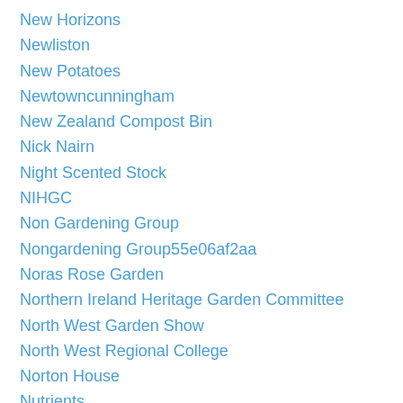New Horizons
Newliston
New Potatoes
Newtowncunningham
New Zealand Compost Bin
Nick Nairn
Night Scented Stock
NIHGC
Non Gardening Group
Nongardening Group55e06af2aa
Noras Rose Garden
Northern Ireland Heritage Garden Committee
North West Garden Show
North West Regional College
Norton House
Nutrients
Oakfield Park
Oakgrove
Oakgrove-college
Oak Hedging
Oak Marble Galls